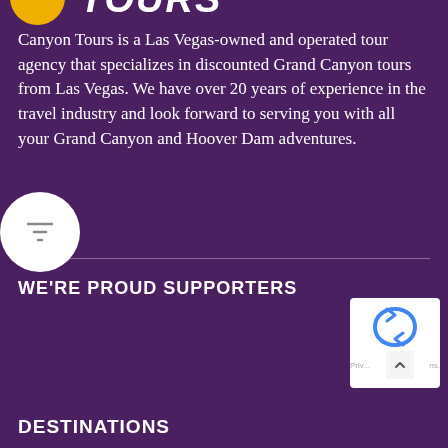[Figure (logo): Canyon Tours logo with yellow circle and italic white text 'TOURS' partially visible]
Canyon Tours is a Las Vegas-owned and operated tour agency that specializes in discounted Grand Canyon tours from Las Vegas. We have over 20 years of experience in the travel industry and look forward to serving you with all your Grand Canyon and Hoover Dam adventures.
WE'RE PROUD SUPPORTERS
[Figure (logo): Google reCAPTCHA badge in bottom right corner with blue circular arrows icon and up chevron]
DESTINATIONS